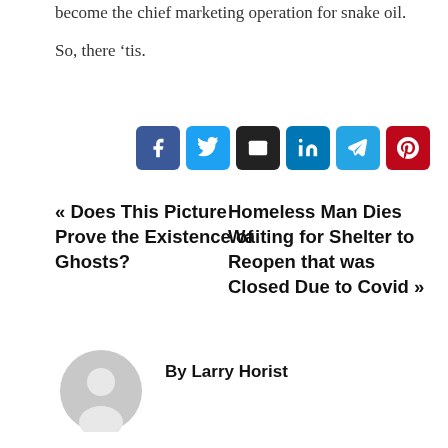become the chief marketing operation for snake oil.

So, there ‘tis.
[Figure (infographic): Row of six social share buttons: Facebook (blue), Twitter (blue), Email (black), LinkedIn (teal), Telegram (blue), Pinterest (red)]
« Does This Picture Prove the Existence of Ghosts?
Homeless Man Dies Waiting for Shelter to Reopen that was Closed Due to Covid »
[Figure (illustration): Generic user avatar: grey circle with silhouette of a person]
By Larry Horist